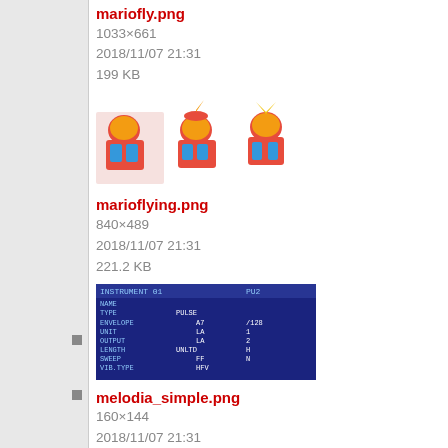mariofly.png
1033×661
2018/11/07 21:31
199 KB
[Figure (illustration): Three pixel-art Mario characters in flying/running poses]
marioflying.png
840×489
2018/11/07 21:31
221.2 KB
[Figure (screenshot): Dark blue retro-style instrument editor screen showing INSTRUMENT 01 PU2 settings with fields for NAME, TYPE: PULSE, ENVELOPE, UNIT, OUTPUT, LENGTH, SWEEP, VIB.TYPE with values, and PU2.TUNE, PU2.FINE, AUTOMATE, TABLE fields]
melodia_simple.png
160×144
2018/11/07 21:31
2 KB